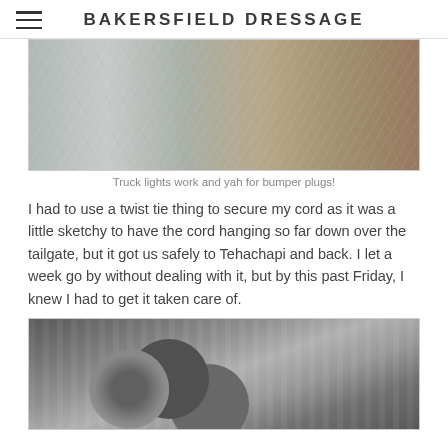BAKERSFIELD DRESSAGE
[Figure (photo): Close-up photo of truck surface showing metallic/hay textures, split between silver metal on the left and dry hay/dirt on the right]
Truck lights work and yah for bumper plugs!
I had to use a twist tie thing to secure my cord as it was a little sketchy to have the cord hanging so far down over the tailgate, but it got us safely to Tehachapi and back. I let a week go by without dealing with it, but by this past Friday, I knew I had to get it taken care of.
[Figure (photo): Close-up photo of metallic bumper plugs or connectors, silver-colored cylindrical and round metal pieces]